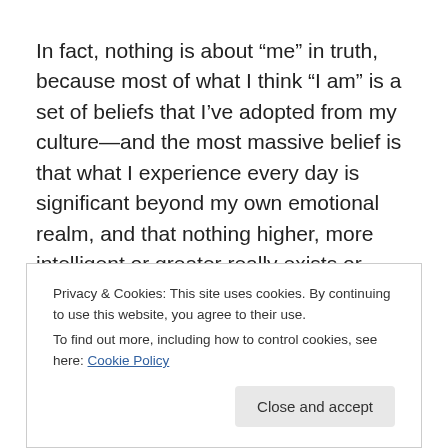In fact, nothing is about “me” in truth, because most of what I think “I am” is a set of beliefs that I’ve adopted from my culture—and the most massive belief is that what I experience every day is significant beyond my own emotional realm, and that nothing higher, more intelligent or greater really exists or matters.
And I can’t just decide to discard these beliefs. They are in fact “my programs” and a living part of my own reality, which I also need to understand, accept, and perhaps even embrace.
Privacy & Cookies: This site uses cookies. By continuing to use this website, you agree to their use.
To find out more, including how to control cookies, see here: Cookie Policy